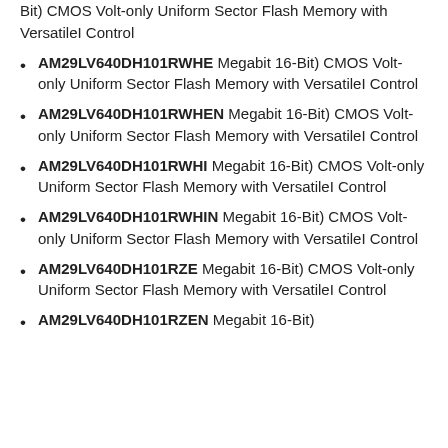AM29LV640DH101RWHE Megabit 16-Bit) CMOS Volt-only Uniform Sector Flash Memory with VersatileI Control
AM29LV640DH101RWHEN Megabit 16-Bit) CMOS Volt-only Uniform Sector Flash Memory with VersatileI Control
AM29LV640DH101RWHI Megabit 16-Bit) CMOS Volt-only Uniform Sector Flash Memory with VersatileI Control
AM29LV640DH101RWHIN Megabit 16-Bit) CMOS Volt-only Uniform Sector Flash Memory with VersatileI Control
AM29LV640DH101RZE Megabit 16-Bit) CMOS Volt-only Uniform Sector Flash Memory with VersatileI Control
AM29LV640DH101RZEN Megabit 16-Bit)